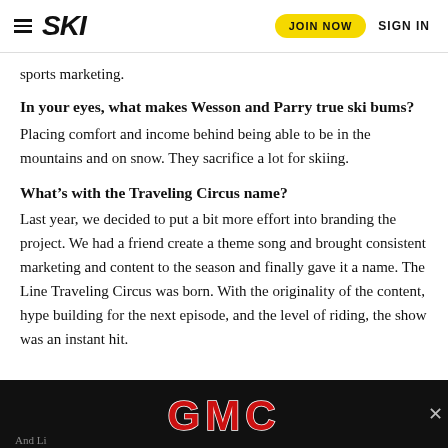SKI | JOIN NOW | SIGN IN
sports marketing.
In your eyes, what makes Wesson and Parry true ski bums? Placing comfort and income behind being able to be in the mountains and on snow. They sacrifice a lot for skiing.
What's with the Traveling Circus name? Last year, we decided to put a bit more effort into branding the project. We had a friend create a theme song and brought consistent marketing and content to the season and finally gave it a name. The Line Traveling Circus was born. With the originality of the content, hype building for the next episode, and the level of riding, the show was an instant hit.
[Figure (logo): GMC logo advertisement banner with red GMC letters on black background]